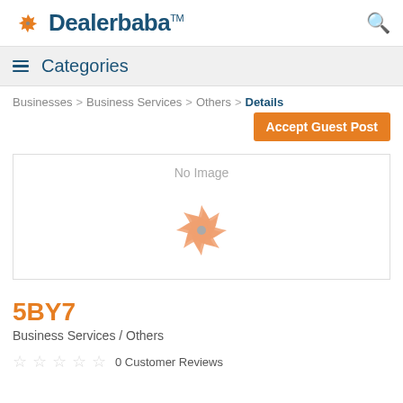Dealerbaba™
≡ Categories
Businesses > Business Services > Others > Details
Accept Guest Post
[Figure (illustration): No Image placeholder with Dealerbaba pinwheel logo watermark in light orange]
5BY7
Business Services / Others
0 Customer Reviews